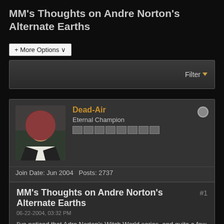MM's Thoughts on Andre Norton's Alternate Earths
+ More Options ▾
[Figure (screenshot): Filter bar with dropdown arrow]
[Figure (photo): Avatar of user Dead-Air, person with red hair and glasses]
Dead-Air
Eternal Champion
Join Date: Jun 2004  Posts: 2737
MM's Thoughts on Andre Norton's Alternate Earths  #1
06-22-2004, 03:32 PM
I've noticed that Adre Norton's Witch World series, and quite a few of her other unrelated books have a theory of alternate Earth's that's quite along the same lines as Michael's Multiverse, though she doesn't actually use the term. Despite the fact that she is a bit of a "young adult" writer, and often applies the same basic formula over the course